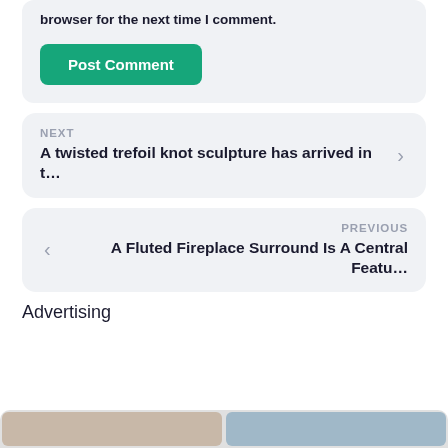browser for the next time I comment.
Post Comment
NEXT
A twisted trefoil knot sculpture has arrived in t…
PREVIOUS
A Fluted Fireplace Surround Is A Central Featu…
Advertising
[Figure (photo): Partial bottom image strip showing photo thumbnails]